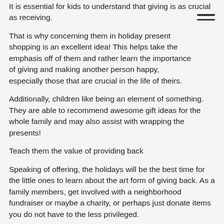It is essential for kids to understand that giving is as crucial as receiving.
That is why concerning them in holiday present shopping is an excellent idea! This helps take the emphasis off of them and rather learn the importance of giving and making another person happy, especially those that are crucial in the life of theirs.
Additionally, children like being an element of something. They are able to recommend awesome gift ideas for the whole family and may also assist with wrapping the presents!
Teach them the value of providing back
Speaking of offering, the holidays will be the best time for the little ones to learn about the art form of giving back. As a family members, get involved with a neighborhood fundraiser or maybe a charity, or perhaps just donate items you do not have to the less privileged.